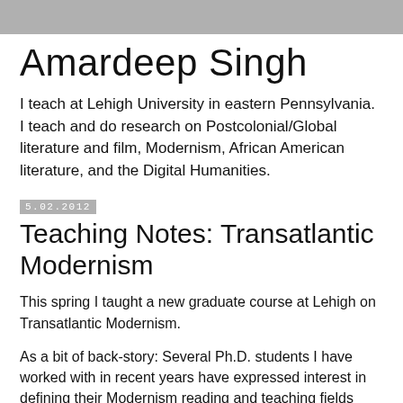Amardeep Singh
I teach at Lehigh University in eastern Pennsylvania. I teach and do research on Postcolonial/Global literature and film, Modernism, African American literature, and the Digital Humanities.
5.02.2012
Teaching Notes: Transatlantic Modernism
This spring I taught a new graduate course at Lehigh on Transatlantic Modernism.
As a bit of back-story: Several Ph.D. students I have worked with in recent years have expressed interest in defining their Modernism reading and teaching fields along transatlantic lines, but neither my colleague Seth Moglen (who does